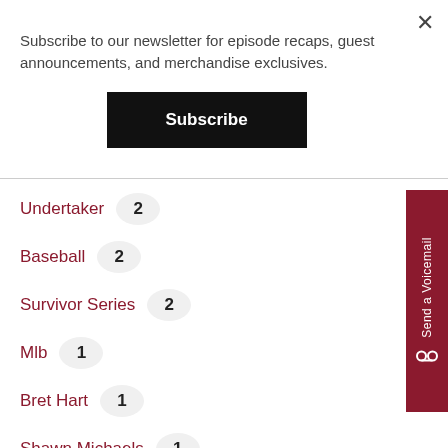Subscribe to our newsletter for episode recaps, guest announcements, and merchandise exclusives.
Subscribe
Undertaker 2
Baseball 2
Survivor Series 2
Mlb 1
Bret Hart 1
Shawn Michaels 1
Larry Bird 1
Magic Johnson 1